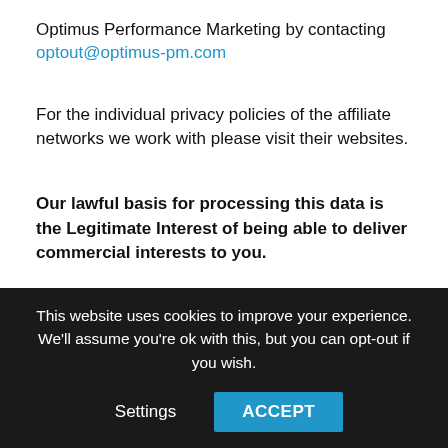Optimus Performance Marketing by contacting optout@optimus-pm.com
For the individual privacy policies of the affiliate networks we work with please visit their websites.
Our lawful basis for processing this data is the Legitimate Interest of being able to deliver commercial interests to you.
Our Clients
Optimus Performance Marketing is the data controller for the information you provide during the pitch process. If you have any queries about the process or how we handle your
This website uses cookies to improve your experience. We'll assume you're ok with this, but you can opt-out if you wish.